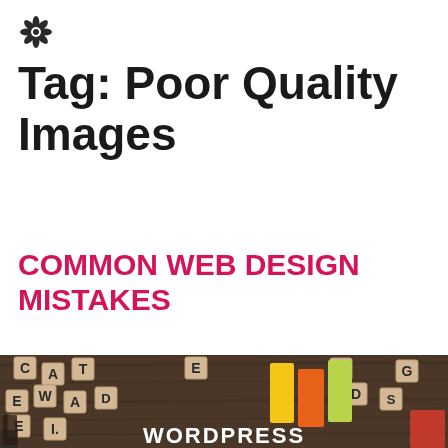[Figure (logo): Small snowflake/flower icon logo in top left corner]
Tag: Poor Quality Images
COMMON WEB DESIGN MISTAKES
[Figure (photo): Photo of wooden scrabble letter tiles scattered on a dark wooden table with colorful marker pens in the middle and 'WORDPRESS' text visible in white letters at the bottom. The image is associated with an article about Common Web Design Mistakes.]